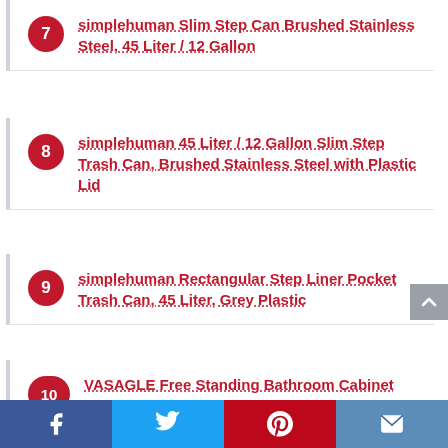7 simplehuman Slim Step Can Brushed Stainless Steel, 45 Liter / 12 Gallon
8 simplehuman 45 Liter / 12 Gallon Slim Step Trash Can, Brushed Stainless Steel with Plastic Lid
9 simplehuman Rectangular Step Liner Pocket Trash Can, 45 Liter, Grey Plastic
10 VASAGLE Free Standing Bathroom Cabinet with Drawer and Adjustable Shelf, Kitchen Cupboard, Wooden Entryway Storage Cabinet White, 23.6" L x 11.8" W x 31.5" H | UBRC61WT
Facebook | Twitter | Pinterest | Email